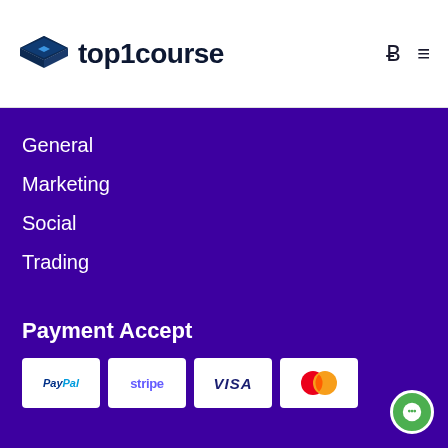[Figure (logo): top1course logo with graduation cap icon and bold text 'top1course']
General
Marketing
Social
Trading
Payment Accept
[Figure (logo): Payment method logos: PayPal, Stripe, Visa, Mastercard]